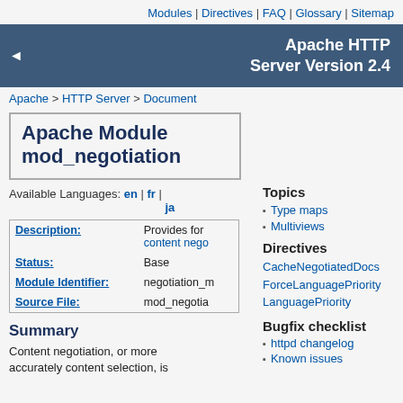Modules | Directives | FAQ | Glossary | Sitemap
Apache HTTP Server Version 2.4
Apache > HTTP Server > Document
Apache Module mod_negotiation
Available Languages: en | fr | ja
| Field | Value |
| --- | --- |
| Description: | Provides for content nego |
| Status: | Base |
| Module Identifier: | negotiation_m |
| Source File: | mod_negotia |
Topics
Type maps
Multiviews
Directives
CacheNegotiatedDocs
ForceLanguagePriority
LanguagePriority
Bugfix checklist
httpd changelog
Known issues
Summary
Content negotiation, or more accurately content selection, is